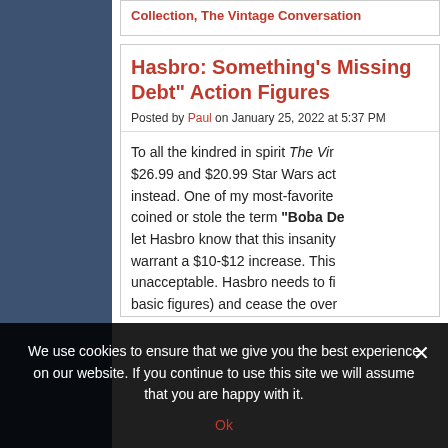Collection, The Vintage Conversation
Hasbro: Something's Missing Debt" Action Figures
Posted by Paul on January 25, 2022 at 5:37 PM
To all the kindred in spirit The Vi... $26.99 and $20.99 Star Wars act... instead. One of my most-favorite... coined or stole the term "Boba De... let Hasbro know that this insanity... warrant a $10-$12 increase. This... unacceptable. Hasbro needs to fi... basic figures) and cease the over...
We use cookies to ensure that we give you the best experience on our website. If you continue to use this site we will assume that you are happy with it.
Ok